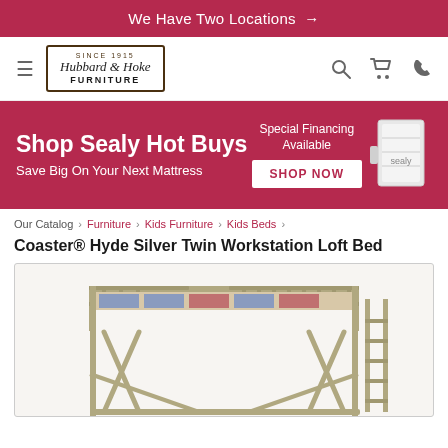We Have Two Locations →
[Figure (logo): Hubbard & Hoke Furniture logo — decorative bordered sign with 'Since 1915' text, stylized script name and FURNITURE in block letters]
[Figure (infographic): Shop Sealy Hot Buys promotional banner — red background, 'Shop Sealy Hot Buys / Save Big On Your Next Mattress' text left, 'Special Financing Available' and 'SHOP NOW' button center, mattress image right]
Our Catalog › Furniture › Kids Furniture › Kids Beds ›
Coaster® Hyde Silver Twin Workstation Loft Bed
[Figure (photo): Silver metal twin workstation loft bed — elevated sleeping platform with metal railings, X-pattern support legs, ladder on right side, and bedding visible on top platform]